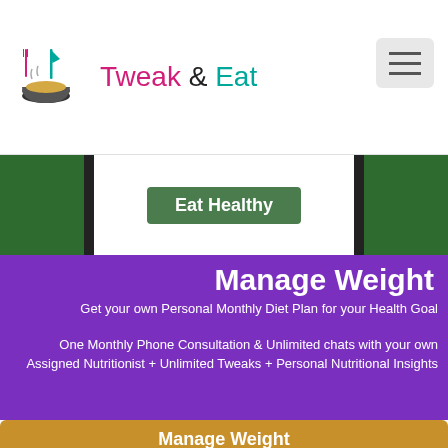[Figure (logo): Tweak & Eat logo with fork, knife and bowl of noodles]
Tweak & Eat
[Figure (screenshot): Phone mockup showing Eat Healthy button on green background]
Manage Weight
Get your own Personal Monthly Diet Plan for your Health Goal
One Monthly Phone Consultation & Unlimited chats with your own Assigned Nutritionist + Unlimited Tweaks + Personal Nutritional Insights
Manage Weight